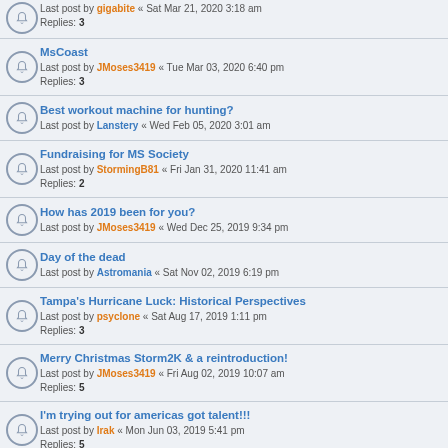Last post by gigabite « Sat Mar 21, 2020 3:18 am
Replies: 3
MsCoast
Last post by JMoses3419 « Tue Mar 03, 2020 6:40 pm
Replies: 3
Best workout machine for hunting?
Last post by Lanstery « Wed Feb 05, 2020 3:01 am
Fundraising for MS Society
Last post by StormingB81 « Fri Jan 31, 2020 11:41 am
Replies: 2
How has 2019 been for you?
Last post by JMoses3419 « Wed Dec 25, 2019 9:34 pm
Day of the dead
Last post by Astromania « Sat Nov 02, 2019 6:19 pm
Tampa's Hurricane Luck: Historical Perspectives
Last post by psyclone « Sat Aug 17, 2019 1:11 pm
Replies: 3
Merry Christmas Storm2K & a reintroduction!
Last post by JMoses3419 « Fri Aug 02, 2019 10:07 am
Replies: 5
I'm trying out for americas got talent!!!
Last post by Irak « Mon Jun 03, 2019 5:41 pm
Replies: 5
Unofficial Rules for Life
Last post by JMoses3419 « Wed May 08, 2019 11:07 am
Replies: 5
Is that time again: Daylight Saving Time starts on March 10th 2 AM / Move clocks ahead one hour
Last post by ...